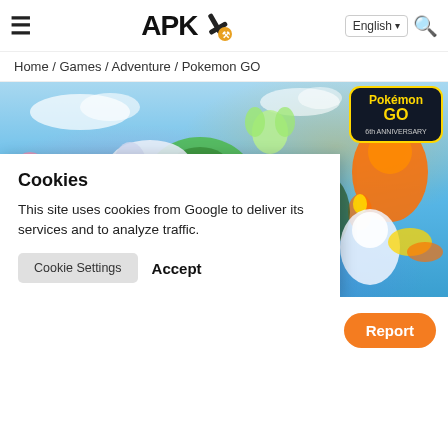APK [logo] — English — Search
Home / Games / Adventure / Pokemon GO
[Figure (illustration): Pokemon GO anniversary artwork showing various Pokemon characters and trainers against a blue sky background, with the Pokemon GO 6th Anniversary logo in the top-right corner.]
Cookies
This site uses cookies from Google to deliver its services and to analyze traffic.
Cookie Settings    Accept
Report
4/5 (15.287 M votes)